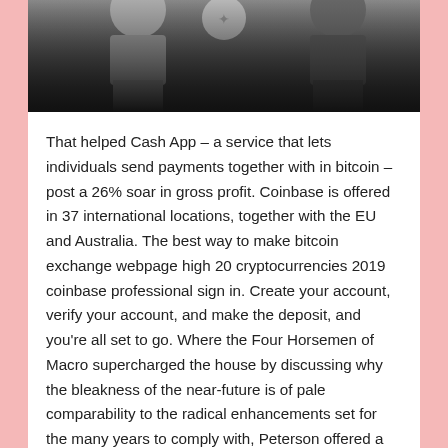[Figure (photo): Partial photograph showing dark figures or people, largely in shadow, with a dark background. Only the bottom portion of the image is visible, fading into black.]
That helped Cash App – a service that lets individuals send payments together with in bitcoin – post a 26% soar in gross profit. Coinbase is offered in 37 international locations, together with the EU and Australia. The best way to make bitcoin exchange webpage high 20 cryptocurrencies 2019 coinbase professional sign in. Create your account, verify your account, and make the deposit, and you're all set to go. Where the Four Horsemen of Macro supercharged the house by discussing why the bleakness of the near-future is of pale comparability to the radical enhancements set for the many years to comply with, Peterson offered a sense of calm, taking the alternative side of the same coin. As is his technique, Peterson provided a very cool and collected